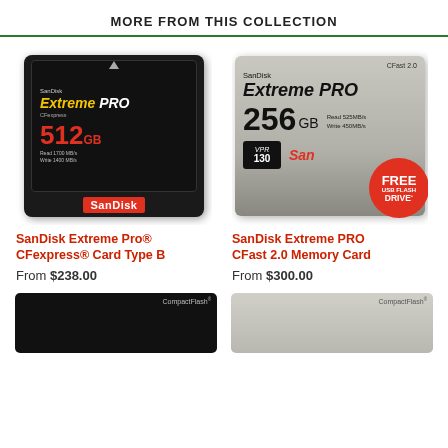MORE FROM THIS COLLECTION
[Figure (photo): SanDisk Extreme Pro CFexpress Card Type B 512GB product photo]
SanDisk Extreme Pro® CFexpress® Card Type B
From $238.00
[Figure (photo): SanDisk Extreme PRO CFast 2.0 Memory Card 256GB product photo with FREE USB Flash Drive badge]
SanDisk Extreme PRO CFast 2.0 Memory Card
From $300.00
[Figure (photo): Partial bottom view of CompactFlash card (dark)]
[Figure (photo): Partial bottom view of CompactFlash card (silver)]